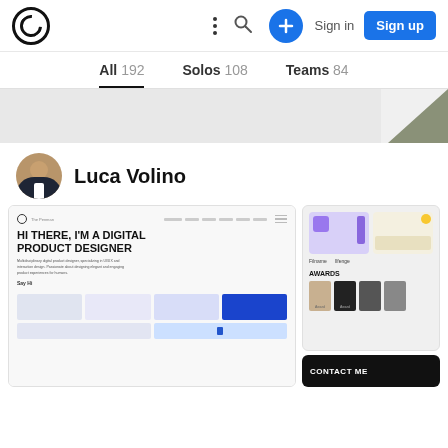Navigation bar with logo, menu, search, plus button, Sign in, Sign up
All 192   Solos 108   Teams 84
[Figure (screenshot): Banner area with light gray background and olive/green triangle arrow pointing left on the right side]
Luca Volino
[Figure (screenshot): Left portfolio screenshot showing a personal website with headline 'HI THERE, I'M A DIGITAL PRODUCT DESIGNER', navigation bar, body text about multidisciplinary digital product designer, 'Say Hi' CTA, and portfolio card thumbnails at bottom]
[Figure (screenshot): Right portfolio screenshot showing app designs labeled 'Filname' and 'Ilfenge', an AWARDS section with trophy/award icons, and a black CONTACT ME footer section]